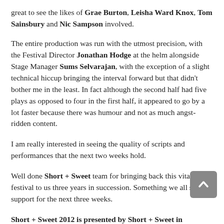great to see the likes of Grae Burton, Leisha Ward Knox, Tom Sainsbury and Nic Sampson involved.
The entire production was run with the utmost precision, with the Festival Director Jonathan Hodge at the helm alongside Stage Manager Sums Selvarajan, with the exception of a slight technical hiccup bringing the interval forward but that didn't bother me in the least. In fact although the second half had five plays as opposed to four in the first half, it appeared to go by a lot faster because there was humour and not as much angst-ridden content.
I am really interested in seeing the quality of scripts and performances that the next two weeks hold.
Well done Short + Sweet team for bringing back this vital festival to us three years in succession. Something we all should support for the next three weeks.
Short + Sweet 2012 is presented by Short + Sweet in association with STAMP at THE EDGE at The Herald